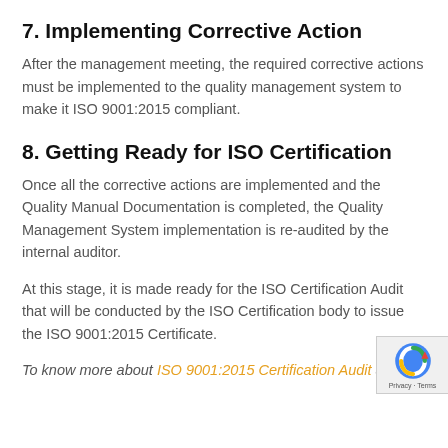7. Implementing Corrective Action
After the management meeting, the required corrective actions must be implemented to the quality management system to make it ISO 9001:2015 compliant.
8. Getting Ready for ISO Certification
Once all the corrective actions are implemented and the Quality Manual Documentation is completed, the Quality Management System implementation is re-audited by the internal auditor.
At this stage, it is made ready for the ISO Certification Audit that will be conducted by the ISO Certification body to issue the ISO 9001:2015 Certificate.
To know more about ISO 9001:2015 Certification Audit and